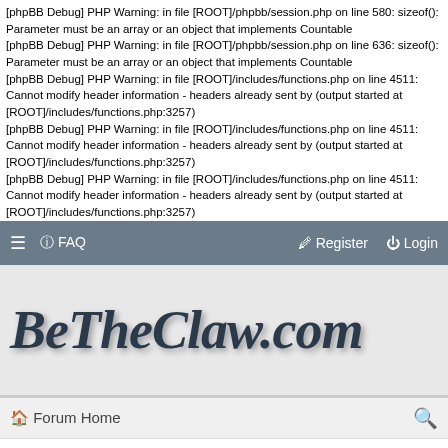[phpBB Debug] PHP Warning: in file [ROOT]/phpbb/session.php on line 580: sizeof(): Parameter must be an array or an object that implements Countable
[phpBB Debug] PHP Warning: in file [ROOT]/phpbb/session.php on line 636: sizeof(): Parameter must be an array or an object that implements Countable
[phpBB Debug] PHP Warning: in file [ROOT]/includes/functions.php on line 4511: Cannot modify header information - headers already sent by (output started at [ROOT]/includes/functions.php:3257)
[phpBB Debug] PHP Warning: in file [ROOT]/includes/functions.php on line 4511: Cannot modify header information - headers already sent by (output started at [ROOT]/includes/functions.php:3257)
[phpBB Debug] PHP Warning: in file [ROOT]/includes/functions.php on line 4511: Cannot modify header information - headers already sent by (output started at [ROOT]/includes/functions.php:3257)
≡  FAQ    Register   Login
[Figure (logo): BeTheClaw.com forum logo in large italic serif font on grey background]
Forum Home   🔍